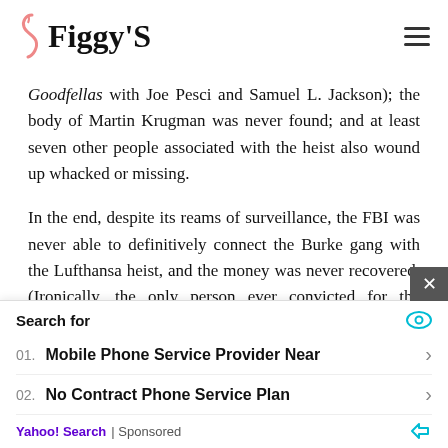Figgy's
Goodfellas with Joe Pesci and Samuel L. Jackson); the body of Martin Krugman was never found; and at least seven other people associated with the heist also wound up whacked or missing.
In the end, despite its reams of surveillance, the FBI was never able to definitively connect the Burke gang with the Lufthansa heist, and the money was never recovered. (Ironically, the only person ever convicted for the robbery was Louis Werner, the inside man who had
Search for
01. Mobile Phone Service Provider Near
02. No Contract Phone Service Plan
Yahoo! Search | Sponsored